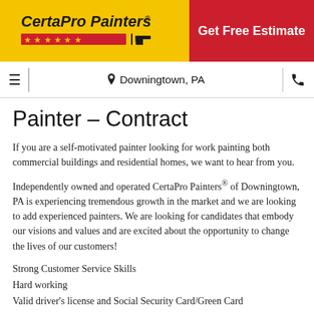[Figure (logo): CertaPro Painters logo on yellow background with red stars and brush icon]
Get Free Estimate
☰  📍 Downingtown, PA  📞
Painter – Contract
If you are a self-motivated painter looking for work painting both commercial buildings and residential homes, we want to hear from you.
Independently owned and operated CertaPro Painters® of Downingtown, PA is experiencing tremendous growth in the market and we are looking to add experienced painters. We are looking for candidates that embody our visions and values and are excited about the opportunity to change the lives of our customers!
Strong Customer Service Skills
Hard working
Valid driver's license and Social Security Card/Green Card